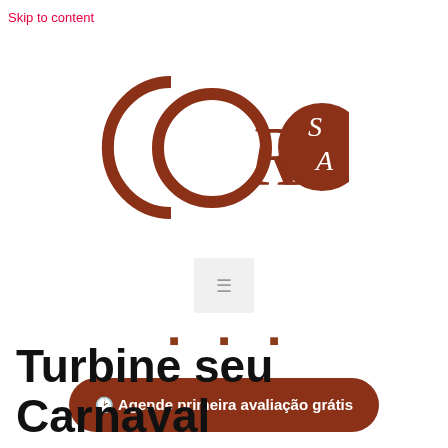Skip to content
[Figure (logo): CorpoSA logo — stylized text 'CORPO' with interlocking circles on the C and O letters, followed by 'SA' in white lettering on a dark reddish-brown filled circle, all in a deep terracotta/brown color scheme]
[Figure (other): Small navigation menu toggle icon in a light gray box]
[Figure (other): Three small social media icons in terracotta/brown color]
🕑 Agende primeira avaliação grátis
Turbine seu Carnaval